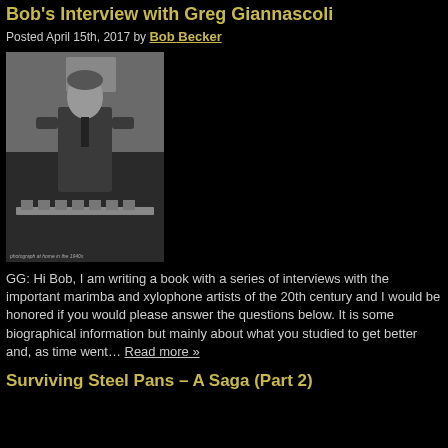Bob's Interview with Greg Giannascoli
Posted April 15th, 2017 by Bob Becker
[Figure (photo): Black and white vintage photo of a young person in a suit standing near a marimba or xylophone instrument]
GG: Hi Bob, I am writing a book with a series of interviews with the important marimba and xylophone artists of the 20th century and I would be honored if you would please answer the questions below. It is some biographical information but mainly about what you studied to get better and, as time went… Read more »
Surviving Steel Pans – A Saga (Part 2)